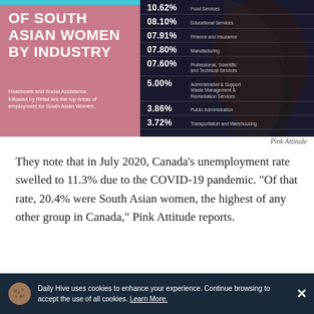[Figure (infographic): Infographic titled 'OF SOUTH ASIAN WOMEN BY INDUSTRY' on a dark navy and pink background with a silhouette of a South Asian woman. Lists percentage employment by industry: 10.62% Food Services, 08.10% Educational Services, 07.91% Finance and Insurance, 07.80% Manufacturing, 07.60% Professional Scientific and Technical Services, 5.00% Administrative & Support Waste Management & Remediation Services, 3.86% Public Administration, 3.72% Transportation and Warehousing.]
Pink Attitude
They note that in July 2020, Canada's unemployment rate swelled to 11.3% due to the COVID-19 pandemic. “Of that rate, 20.4% were South Asian women, the highest of any other group in Canada,” Pink Attitude reports.
Daily Hive uses cookies to enhance your experience. Continue browsing to accept the use of all cookies. Learn More.